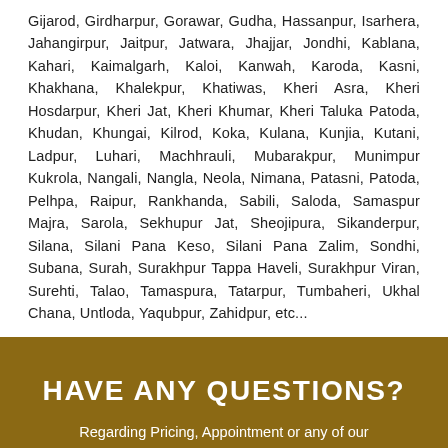Gijarod, Girdharpur, Gorawar, Gudha, Hassanpur, Isarhera, Jahangirpur, Jaitpur, Jatwara, Jhajjar, Jondhi, Kablana, Kahari, Kaimalgarh, Kaloi, Kanwah, Karoda, Kasni, Khakhana, Khalekpur, Khatiwas, Kheri Asra, Kheri Hosdarpur, Kheri Jat, Kheri Khumar, Kheri Taluka Patoda, Khudan, Khungai, Kilrod, Koka, Kulana, Kunjia, Kutani, Ladpur, Luhari, Machhrauli, Mubarakpur, Munimpur Kukrola, Nangali, Nangla, Neola, Nimana, Patasni, Patoda, Pelhpa, Raipur, Rankhanda, Sabili, Saloda, Samaspur Majra, Sarola, Sekhupur Jat, Sheojipura, Sikanderpur, Silana, Silani Pana Keso, Silani Pana Zalim, Sondhi, Subana, Surah, Surakhpur Tappa Haveli, Surakhpur Viran, Surehti, Talao, Tamaspura, Tatarpur, Tumbaheri, Ukhal Chana, Untloda, Yaqubpur, Zahidpur, etc...
HAVE ANY QUESTIONS?
Regarding Pricing, Appointment or any of our service. Just ask it straight by dailing any of below phone numbers.